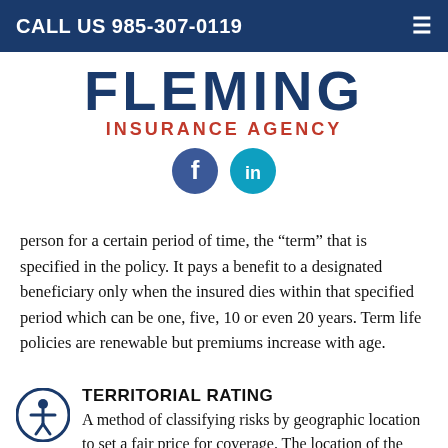CALL US 985-307-0119
FLEMING
INSURANCE AGENCY
[Figure (logo): Fleming Insurance Agency logo with FLEMING in large dark blue bold text and INSURANCE AGENCY in red below, plus Facebook and LinkedIn social media icons]
person for a certain period of time, the “term” that is specified in the policy. It pays a benefit to a designated beneficiary only when the insured dies within that specified period which can be one, five, 10 or even 20 years. Term life policies are renewable but premiums increase with age.
TERRITORIAL RATING
A method of classifying risks by geographic location to set a fair price for coverage. The location of the insured may have a considerable